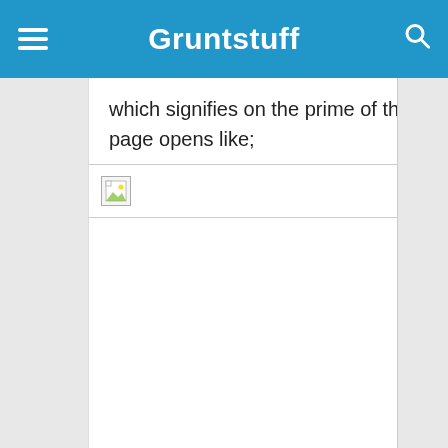Gruntstuff
which signifies on the prime of the suitable aspect of the web page, after we hit the web page opens like;
[Figure (screenshot): Broken/missing image placeholder icon]